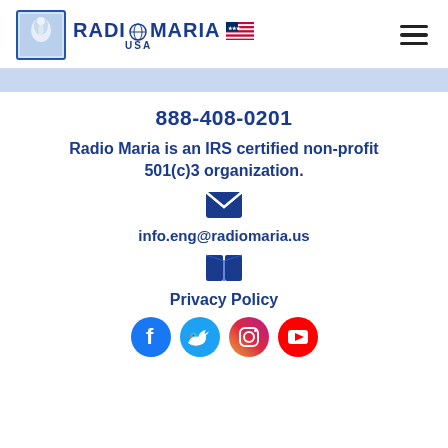Radio Maria USA
888-408-0201
Radio Maria is an IRS certified non-profit 501(c)3 organization.
[Figure (illustration): Blue envelope icon for email contact]
info.eng@radiomaria.us
[Figure (illustration): Blue open book icon for Privacy Policy]
Privacy Policy
[Figure (illustration): Row of social media icons: Facebook, Twitter, Instagram, YouTube]